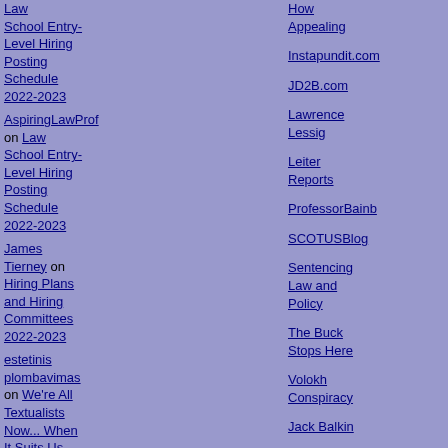Law School Entry-Level Hiring Posting Schedule 2022-2023
AspiringLawProf on Law School Entry-Level Hiring Posting Schedule 2022-2023
James Tierney on Hiring Plans and Hiring Committees 2022-2023
estetinis plombavimas on We're All Textualists Now... When It Suits Us
Richard on We're All Textualists Now... When
How Appealing
Instapundit.com
JD2B.com
Lawrence Lessig
Leiter Reports
ProfessorBainb
SCOTUSBlog
Sentencing Law and Policy
The Buck Stops Here
Volokh Conspiracy
Jack Balkin
Conglomerate
The Right Coast